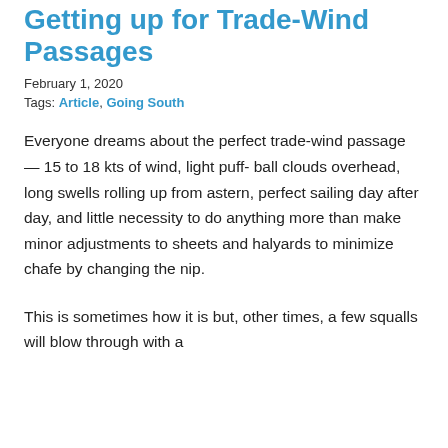Getting up for Trade-Wind Passages
February 1, 2020
Tags: Article, Going South
Everyone dreams about the perfect trade-wind passage — 15 to 18 kts of wind, light puff- ball clouds overhead, long swells rolling up from astern, perfect sailing day after day, and little necessity to do anything more than make minor adjustments to sheets and halyards to minimize chafe by changing the nip.
This is sometimes how it is but, other times, a few squalls will blow through with a